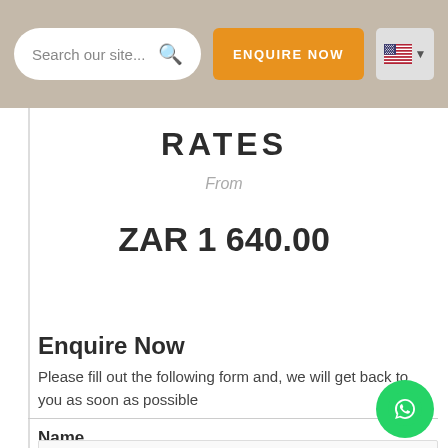Search our site... | ENQUIRE NOW
RATES
From
ZAR 1 640.00
Enquire Now
Please fill out the following form and, we will get back to you as soon as possible
Name